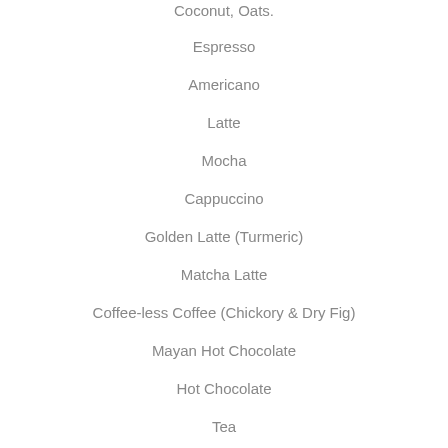Coconut, Oats.
Espresso
Americano
Latte
Mocha
Cappuccino
Golden Latte (Turmeric)
Matcha Latte
Coffee-less Coffee (Chickory & Dry Fig)
Mayan Hot Chocolate
Hot Chocolate
Tea